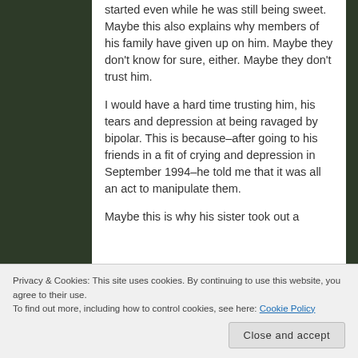started even while he was still being sweet. Maybe this also explains why members of his family have given up on him. Maybe they don't know for sure, either. Maybe they don't trust him.
I would have a hard time trusting him, his tears and depression at being ravaged by bipolar. This is because–after going to his friends in a fit of crying and depression in September 1994–he told me that it was all an act to manipulate them.
Maybe this is why his sister took out a
heard he was hospitalized.
Privacy & Cookies: This site uses cookies. By continuing to use this website, you agree to their use.
To find out more, including how to control cookies, see here: Cookie Policy